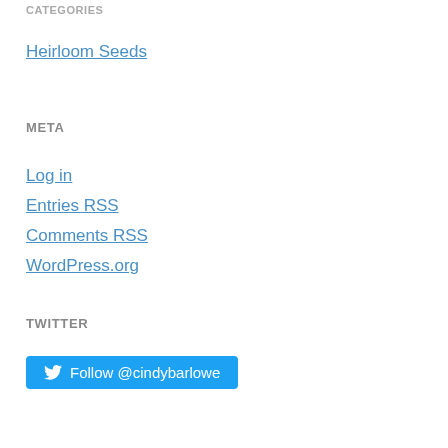CATEGORIES
Heirloom Seeds
META
Log in
Entries RSS
Comments RSS
WordPress.org
TWITTER
Follow @cindybarlowe